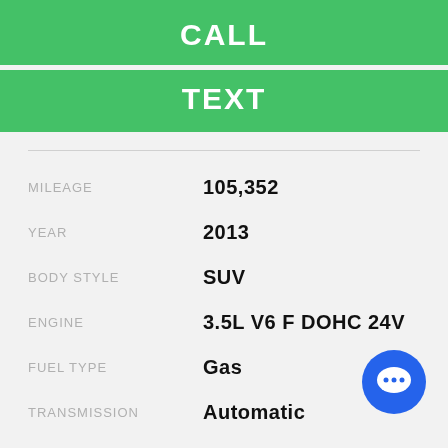CALL
TEXT
| Field | Value |
| --- | --- |
| MILEAGE | 105,352 |
| YEAR | 2013 |
| BODY STYLE | SUV |
| ENGINE | 3.5L V6 F DOHC 24V |
| FUEL TYPE | Gas |
| TRANSMISSION | Automatic |
| DRIVETRAIN | 4WD |
[Figure (illustration): Blue circular chat bubble icon with three dots]